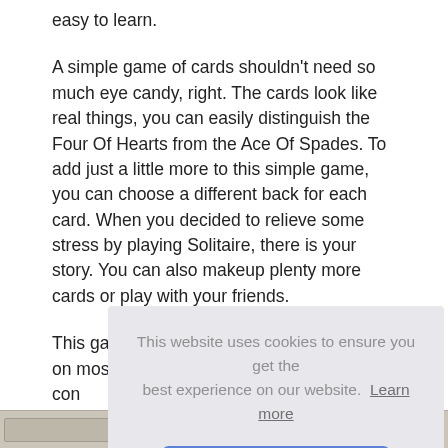easy to learn.
A simple game of cards shouldn't need so much eye candy, right. The cards look like real things, you can easily distinguish the Four Of Hearts from the Ace Of Spades. To add just a little more to this simple game, you can choose a different back for each card. When you decided to relieve some stress by playing Solitaire, there is your story. You can also makeup plenty more cards or play with your friends.
This game is a great time killer, and it's free on most con... the... son... Sol... diffi...
This website uses cookies to ensure you get the best experience on our website. Learn more
OK